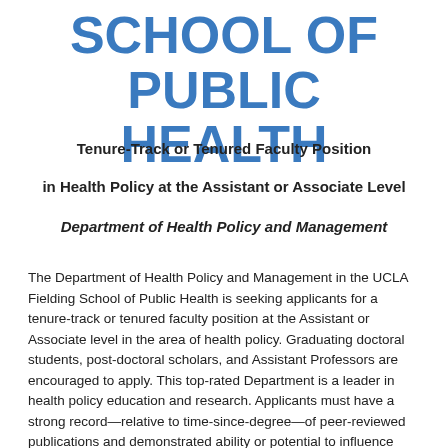SCHOOL OF PUBLIC HEALTH
Tenure-Track or Tenured Faculty Position
in Health Policy at the Assistant or Associate Level
Department of Health Policy and Management
The Department of Health Policy and Management in the UCLA Fielding School of Public Health is seeking applicants for a tenure-track or tenured faculty position at the Assistant or Associate level in the area of health policy. Graduating doctoral students, post-doctoral scholars, and Assistant Professors are encouraged to apply. This top-rated Department is a leader in health policy education and research. Applicants must have a strong record—relative to time-since-degree—of peer-reviewed publications and demonstrated ability or potential to influence